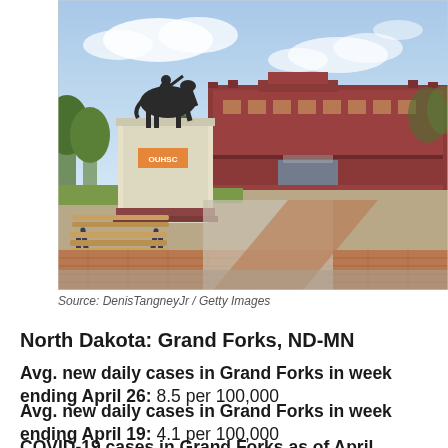[Figure (photo): Outdoor campus photo showing a bronze equestrian statue on a pedestal in the foreground with a large brick university building in the background, a wooden bench in the lower left, brick walkways, and a partly cloudy sky.]
Source: DenisTangneyJr / Getty Images
North Dakota: Grand Forks, ND-MN
Avg. new daily cases in Grand Forks in week ending April 26: 8.5 per 100,000
Avg. new daily cases in Grand Forks in week ending April 19: 4.1 per 100,000
COVID-19 cases in Grand Forks as of April